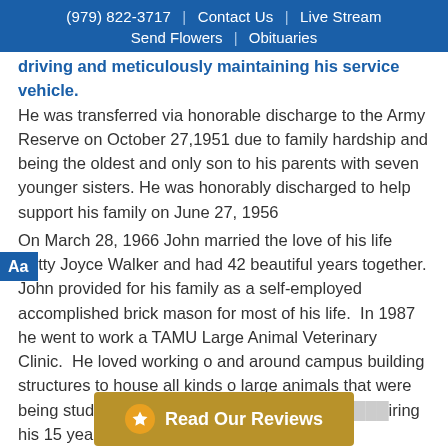(979) 822-3717 | Contact Us | Live Stream | Send Flowers | Obituaries
driving and meticulously maintaining his service vehicle. He was transferred via honorable discharge to the Army Reserve on October 27,1951 due to family hardship and being the oldest and only son to his parents with seven younger sisters. He was honorably discharged to help support his family on June 27, 1956
On March 28, 1966 John married the love of his life Betty Joyce Walker and had 42 beautiful years together. John provided for his family as a self-employed accomplished brick mason for most of his life. In 1987 he went to work at TAMU Large Animal Veterinary Clinic. He loved working on and around campus building structures to house all kinds of large animals that were being studied. He retired from TAMU in 200... during his 15 years of em...
Read Our Reviews